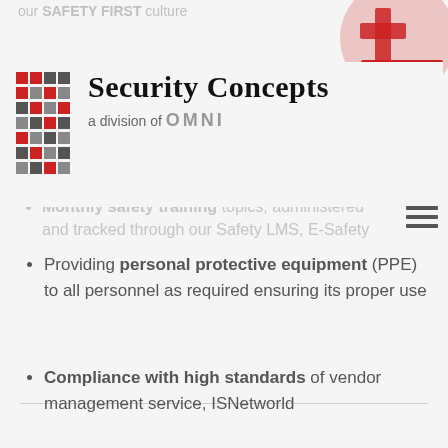[Figure (logo): Security Concepts a division of OMNI logo with building icon and Safety First badge]
our SAFETY FIRST culture
Continual training and education of all employees with special attention given to new employees and job-specific duties.
Monthly safety training topics, administered and tracked through our Safety LMS, E-Safety
Providing personal protective equipment (PPE) to all personnel as required ensuring its proper use
Compliance with high standards of vendor management service, ISNetworld